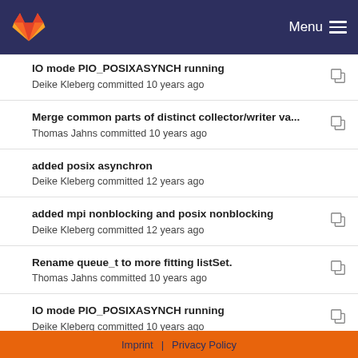Menu
IO mode PIO_POSIXASYNCH running
Deike Kleberg committed 10 years ago
Merge common parts of distinct collector/writer va...
Thomas Jahns committed 10 years ago
added posix asynchron
Deike Kleberg committed 12 years ago
added mpi nonblocking and posix nonblocking
Deike Kleberg committed 12 years ago
Rename queue_t to more fitting listSet.
Thomas Jahns committed 10 years ago
IO mode PIO_POSIXASYNCH running
Deike Kleberg committed 10 years ago
Feature close/open files with defined resources ru...
Deike Kleberg committed 10 years ago
added posix asynchron
Imprint | Privacy Policy